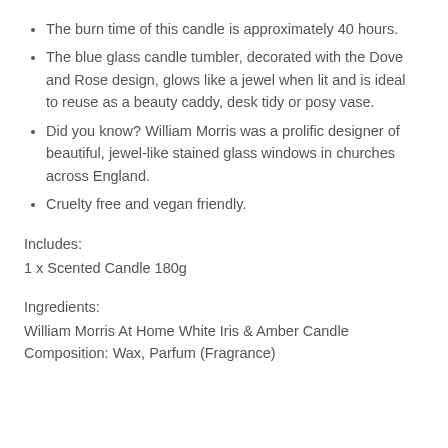The burn time of this candle is approximately 40 hours.
The blue glass candle tumbler, decorated with the Dove and Rose design, glows like a jewel when lit and is ideal to reuse as a beauty caddy, desk tidy or posy vase.
Did you know? William Morris was a prolific designer of beautiful, jewel-like stained glass windows in churches across England.
Cruelty free and vegan friendly.
Includes:
1 x Scented Candle 180g
Ingredients:
William Morris At Home White Iris & Amber Candle
Composition: Wax, Parfum (Fragrance)